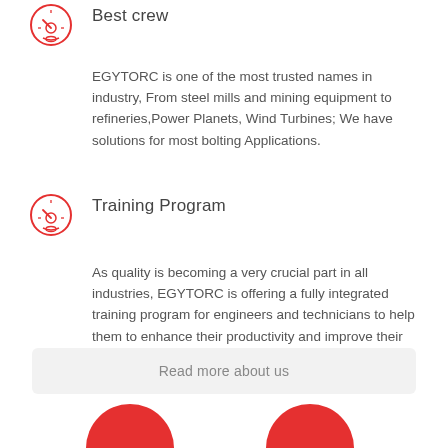[Figure (illustration): Red circular icon with a gauge/speedometer symbol, representing 'Best crew' section]
Best crew
EGYTORC is one of the most trusted names in industry, From steel mills and mining equipment to refineries,Power Planets, Wind Turbines; We have solutions for most bolting Applications.
[Figure (illustration): Red circular icon with a gauge/speedometer symbol, representing 'Training Program' section]
Training Program
As quality is becoming a very crucial part in all industries, EGYTORC is offering a fully integrated training program for engineers and technicians to help them to enhance their productivity and improve their performance.
Read more about us